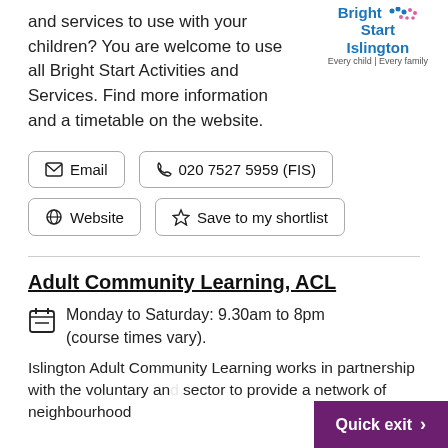and services to use with your children? You are welcome to use all Bright Start Activities and Services. Find more information and a timetable on the website.
[Figure (logo): Bright Start Islington logo with colourful dots and tagline 'Every child | Every family']
Email  |  020 7527 5959 (FIS)  |  Website  |  Save to my shortlist
Adult Community Learning, ACL
Monday to Saturday: 9.30am to 8pm (course times vary).
Islington Adult Community Learning works in partnership with the voluntary and sector to provide a network of neighbourhood